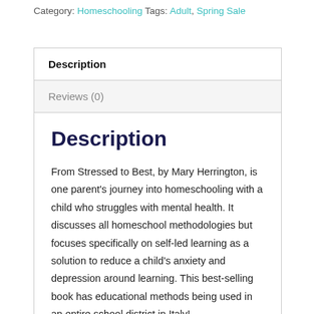Category: Homeschooling Tags: Adult, Spring Sale
Description
Reviews (0)
Description
From Stressed to Best, by Mary Herrington, is one parent's journey into homeschooling with a child who struggles with mental health. It discusses all homeschool methodologies but focuses specifically on self-led learning as a solution to reduce a child's anxiety and depression around learning. This best-selling book has educational methods being used in an entire school district in Italy!
A Note from Mary Herrington, author of F...